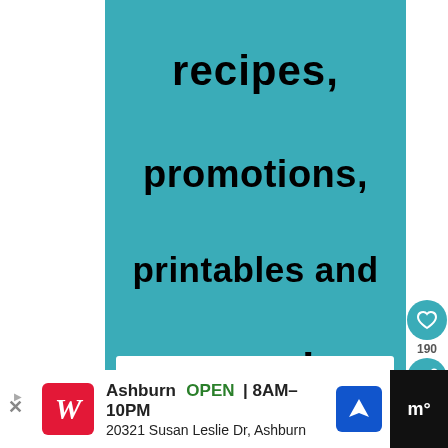recipes,
promotions,
printables and
more!
[Figure (other): Text input form field with placeholder text 'name' on teal background]
[Figure (other): Right sidebar with heart icon, share count 190, and share icon on white background]
[Figure (other): Bottom advertisement bar for Walgreens Ashburn location, OPEN 8AM-10PM, 20321 Susan Leslie Dr, Ashburn]